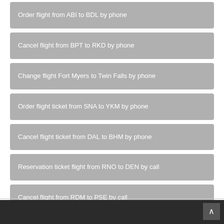Order flight from ABI to BDL by phone
Cancel flight from BPT to RKD by phone
Change flight Fort Myers to Twin Falls by phone
Order flight ticket from SNA to YKM by phone
Cancel flight ticket from DAL to BHM by phone
Reservation ticket flight from RNO to DEN by call
Cancel flight from RDM to PSE by call